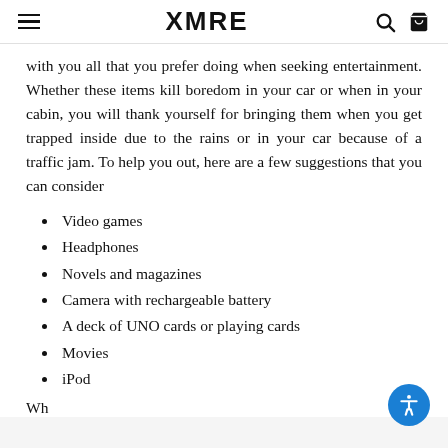XMRE
with you all that you prefer doing when seeking entertainment. Whether these items kill boredom in your car or when in your cabin, you will thank yourself for bringing them when you get trapped inside due to the rains or in your car because of a traffic jam. To help you out, here are a few suggestions that you can consider
Video games
Headphones
Novels and magazines
Camera with rechargeable battery
A deck of UNO cards or playing cards
Movies
iPod
Wh...